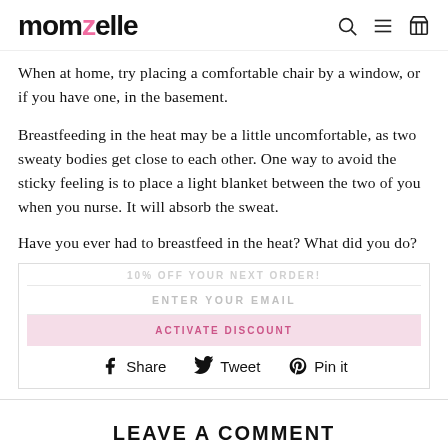momzelle
When at home, try placing a comfortable chair by a window, or if you have one, in the basement.
Breastfeeding in the heat may be a little uncomfortable, as two sweaty bodies get close to each other. One way to avoid the sticky feeling is to place a light blanket between the two of you when you nurse. It will absorb the sweat.
Have you ever had to breastfeed in the heat? What did you do?
[Figure (screenshot): Email signup popup overlay with faded promotional text, email input field, activate discount button, and Share/Tweet/Pin it social sharing buttons]
LEAVE A COMMENT
NAME